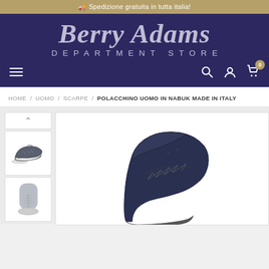🚚 Spedizione gratuita in tutta italia!
[Figure (logo): Berry Adams Department Store logo on dark navy background]
[Figure (screenshot): Navigation bar with hamburger menu, search icon, account icon, and cart icon with badge 0]
HOME / UOMO / SCARPE / POLACCHINO UOMO IN NABUK MADE IN ITALY
[Figure (photo): Product page showing two thumbnail images of a navy blue suede high-top shoe on the left: one side view and one front view. Main large image on the right shows the shoe from the side/angle view revealing navy nubuck material with laces.]